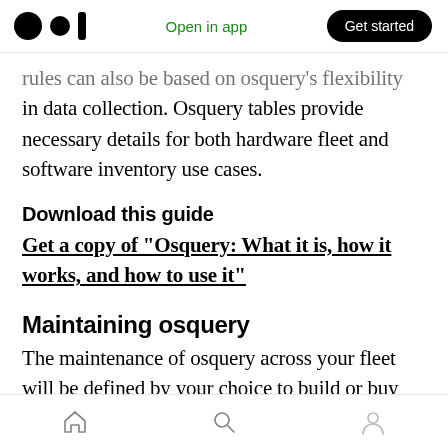Open in app | Get started
rules can also be based on osquery's flexibility in data collection. Osquery tables provide necessary details for both hardware fleet and software inventory use cases.
Download this guide
Get a copy of “Osquery: What it is, how it works, and how to use it”
Maintaining osquery
The maintenance of osquery across your fleet will be defined by your choice to build or buy the agent. As a builder of open source osquery, you
Home | Search | Profile